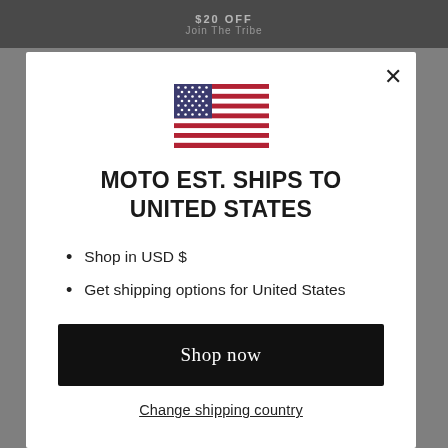$20 OFF
[Figure (illustration): US flag SVG icon]
MOTO EST. SHIPS TO UNITED STATES
Shop in USD $
Get shipping options for United States
Shop now
Change shipping country